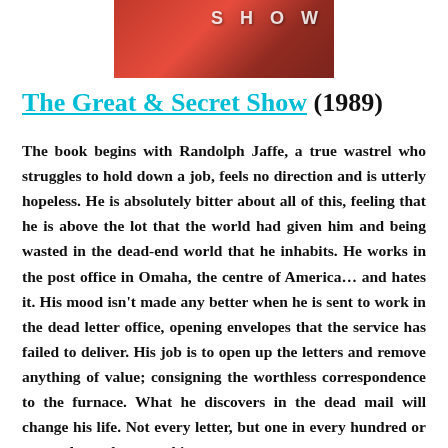[Figure (illustration): Top portion of a book cover for 'The Great & Secret Show' showing a red background with the word SHOW in light-colored letters at the top right]
The Great & Secret Show (1989)
The book begins with Randolph Jaffe, a true wastrel who struggles to hold down a job, feels no direction and is utterly hopeless. He is absolutely bitter about all of this, feeling that he is above the lot that the world had given him and being wasted in the dead-end world that he inhabits. He works in the post office in Omaha, the centre of America... and hates it. His mood isn't made any better when he is sent to work in the dead letter office, opening envelopes that the service has failed to deliver. His job is to open up the letters and remove anything of value; consigning the worthless correspondence to the furnace. What he discovers in the dead mail will change his life. Not every letter, but one in every hundred or so envelopes, he sees whispers